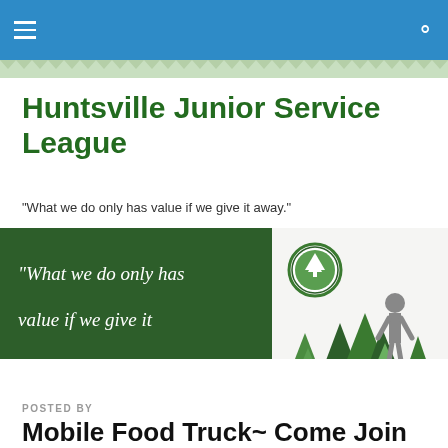Huntsville Junior Service League navigation bar
Huntsville Junior Service League
"What we do only has value if we give it away."
[Figure (illustration): Dark green banner panel with italic white quote text 'What we do only has value if we give it away.' on the left, and on the right a white background illustration showing pine trees and a silhouetted adult figure with a child, plus a circular green HJSL seal/logo at top.]
POSTED BY
Mobile Food Truck~ Come Join